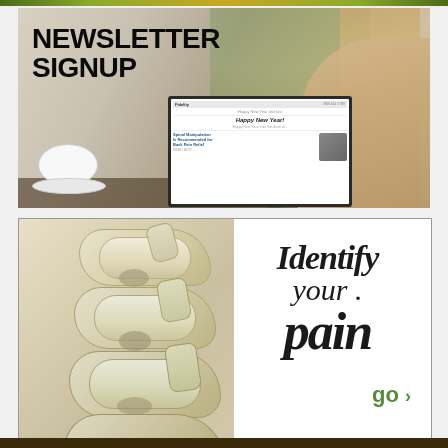[Figure (illustration): Newsletter signup banner with woman using laptop at outdoor cafe, coffee cup visible, showing a chiropractic newsletter on screen with 'Happy New Year!' and 'Spinal Manipulation Is Recommended for Back Pain Relief' headlines. Large bold text reads 'NEWSLETTER SIGNUP' on the left.]
[Figure (illustration): Advertisement with 3D rendered spine vertebrae on left half and text 'Identify your pain go>' on right half, white background with border.]